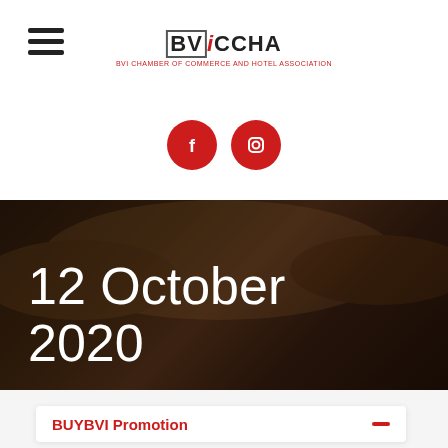[Figure (logo): BViCCHA logo - BVI Chamber of Commerce and Hotel Association with red accent on the letter i]
[Figure (infographic): Two red circular social media icons: Facebook (f) and Instagram (camera) icons side by side]
12 October 2020
BUYBVI Promotion